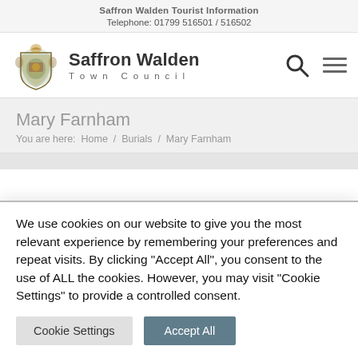Saffron Walden Tourist Information
Telephone: 01799 516501 / 516502
[Figure (logo): Saffron Walden Town Council coat of arms logo with text 'Saffron Walden Town Council']
Mary Farnham
You are here:  Home  /  Burials  /  Mary Farnham
We use cookies on our website to give you the most relevant experience by remembering your preferences and repeat visits. By clicking "Accept All", you consent to the use of ALL the cookies. However, you may visit "Cookie Settings" to provide a controlled consent.
Cookie Settings
Accept All